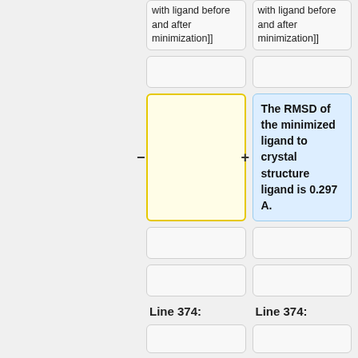with ligand before and after minimization]]
with ligand before and after minimization]]
The RMSD of the minimized ligand to crystal structure ligand is 0.297 A.
Line 374:
Line 374:
[[Image:figure_fps_minimized.png|thumb|center|1000px|Footprint comparison
[[Image:figure_fps_minimized.png|thumb|center|1000px|Footprint comparison